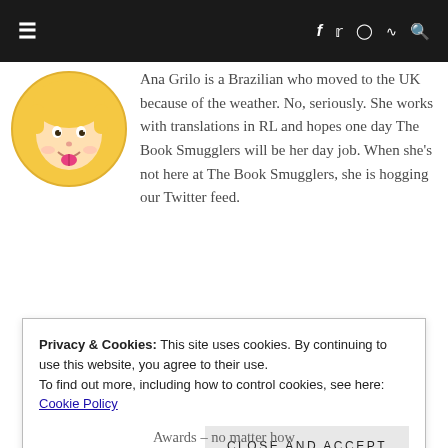≡  f  twitter  instagram  rss  search
[Figure (illustration): Cartoon avatar of Ana Grilo — animated character with blonde hair and tongue sticking out, inside a circular frame]
Ana Grilo is a Brazilian who moved to the UK because of the weather. No, seriously. She works with translations in RL and hopes one day The Book Smugglers will be her day job. When she's not here at The Book Smugglers, she is hogging our Twitter feed.
Privacy & Cookies: This site uses cookies. By continuing to use this website, you agree to their use. To find out more, including how to control cookies, see here: Cookie Policy
Close and accept
Awards – no matter how